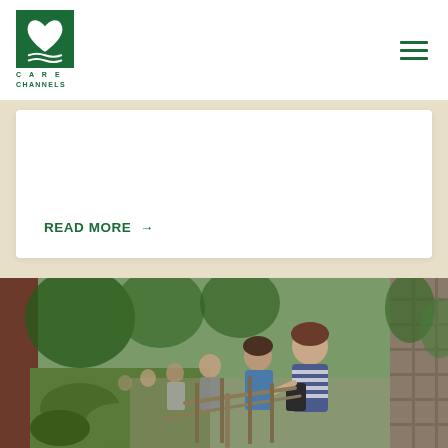[Figure (logo): Care Channels logo: green square with white heart and wavy lines; text below reads CARE CHANNELS]
READ MORE →
[Figure (photo): A line of people walking along a narrow path between an overgrown area and a stone wall. Person in front wears a blue and white striped shirt and carries a bag.]